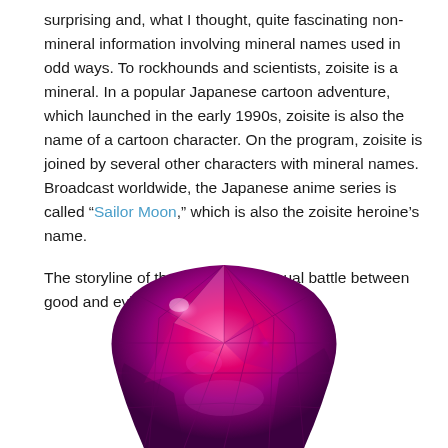surprising and, what I thought, quite fascinating non-mineral information involving mineral names used in odd ways. To rockhounds and scientists, zoisite is a mineral. In a popular Japanese cartoon adventure, which launched in the early 1990s, zoisite is also the name of a cartoon character. On the program, zoisite is joined by several other characters with mineral names. Broadcast worldwide, the Japanese anime series is called “Sailor Moon,” which is also the zoisite heroine’s name.
The storyline of the series is the usual battle between good and evil throughout the
[Figure (photo): A close-up photograph of a vibrant pink/magenta mineral specimen (likely thulite or ruby zoisite), showing a rounded, polished or natural crystal surface with bright magenta and purple hues.]